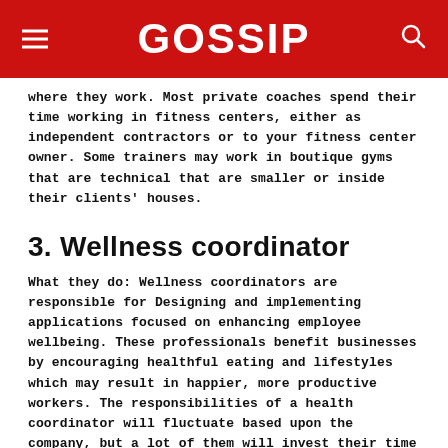GOSSIP
where they work. Most private coaches spend their time working in fitness centers, either as independent contractors or to your fitness center owner. Some trainers may work in boutique gyms that are technical that are smaller or inside their clients' houses.
3. Wellness coordinator
What they do: Wellness coordinators are responsible for Designing and implementing applications focused on enhancing employee wellbeing. These professionals benefit businesses by encouraging healthful eating and lifestyles which may result in happier, more productive workers. The responsibilities of a health coordinator will fluctuate based upon the company, but a lot of them will invest their time arranging group fitness activities, nutritional information sessions and working with employees to assist them achieve their wellness objectives.